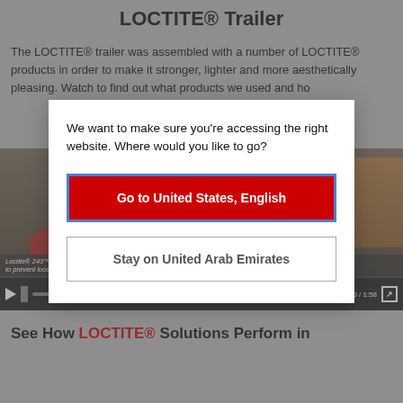LOCTITE® Trailer
The LOCTITE® trailer was assembled with a number of LOCTITE® products in order to make it stronger, lighter and more aesthetically pleasing. Watch to find out what products we used and ho... built it.
[Figure (screenshot): Video player showing LOCTITE trailer content, partially obscured by modal dialog. Caption reads: Loctite® 243™ Blue Medium Strength Threadlocker is used on all nuts and bolts to prevent loosening. Controls show 0:00 / 1:58.]
We want to make sure you're accessing the right website. Where would you like to go?
Go to United States, English
Stay on United Arab Emirates
See How LOCTITE® Solutions Perform in